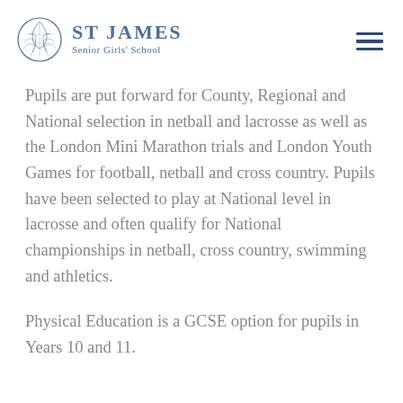ST JAMES Senior Girls' School
Pupils are put forward for County, Regional and National selection in netball and lacrosse as well as the London Mini Marathon trials and London Youth Games for football, netball and cross country. Pupils have been selected to play at National level in lacrosse and often qualify for National championships in netball, cross country, swimming and athletics.
Physical Education is a GCSE option for pupils in Years 10 and 11.